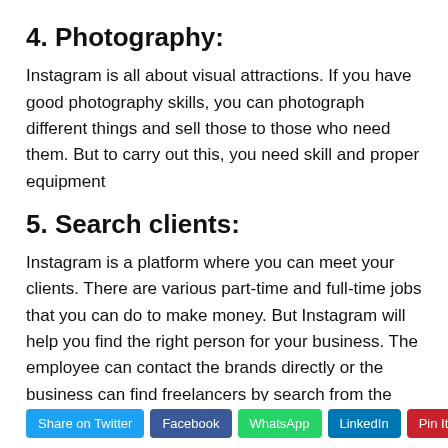4. Photography:
Instagram is all about visual attractions. If you have good photography skills, you can photograph different things and sell those to those who need them. But to carry out this, you need skill and proper equipment
5. Search clients:
Instagram is a platform where you can meet your clients. There are various part-time and full-time jobs that you can do to make money. But Instagram will help you find the right person for your business. The employee can contact the brands directly or the business can find freelancers by search from the hashtag or keyword from Instagram search.
Share on Twitter | Facebook | WhatsApp | LinkedIn | Pin It